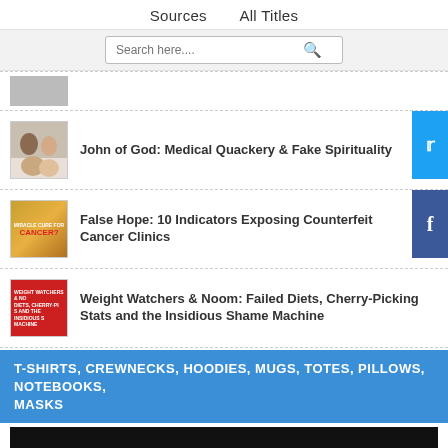Sources   All Titles
Search here....
[Figure (photo): Small thumbnail image (partially visible, appears grey/cropped)]
John of God: Medical Quackery & Fake Spirituality
False Hope: 10 Indicators Exposing Counterfeit Cancer Clinics
Weight Watchers & Noom: Failed Diets, Cherry-Picking Stats and the Insidious Shame Machine
T-SHIRTS, CREWNECKS, HOODIES, MUGS, TOTES, PILLOWS, NOTEBOOKS, MASKS
[Figure (photo): Dark/black image at the bottom of the page]